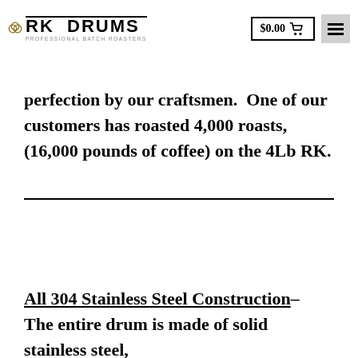RK DRUMS – PROFESSIONAL BATCH ROASTERS | $0.00 | Menu
perfection by our craftsmen.  One of our customers has roasted 4,000 roasts, (16,000 pounds of coffee) on the 4Lb RK.
All 304 Stainless Steel Construction–  The entire drum is made of solid stainless steel,